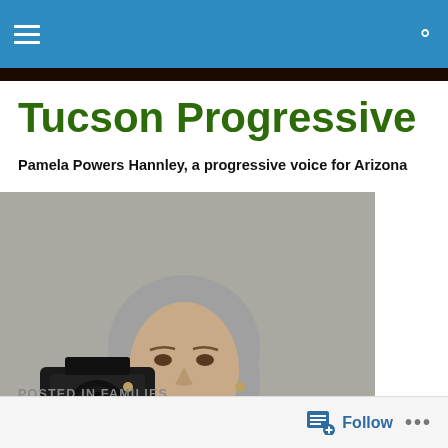Navigation bar with hamburger menu and search icon
Tucson Progressive
Pamela Powers Hannley, a progressive voice for Arizona
[Figure (photo): Woman with gray hair holding a camera, taking a self-portrait in a mirror]
POSTED IN FAMILIES
Follow button with icon and ellipsis menu